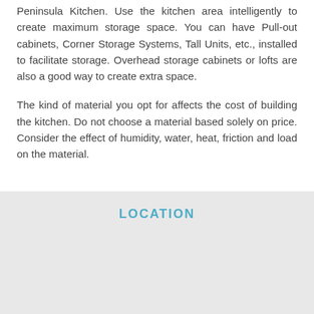Peninsula Kitchen. Use the kitchen area intelligently to create maximum storage space. You can have Pull-out cabinets, Corner Storage Systems, Tall Units, etc., installed to facilitate storage. Overhead storage cabinets or lofts are also a good way to create extra space.
The kind of material you opt for affects the cost of building the kitchen. Do not choose a material based solely on price. Consider the effect of humidity, water, heat, friction and load on the material.
LOCATION